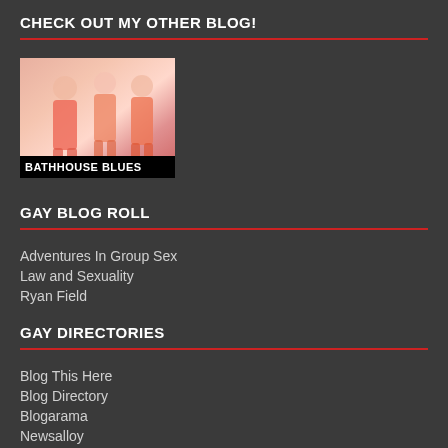CHECK OUT MY OTHER BLOG!
[Figure (photo): Blog promotional image with text overlay reading BATHHOUSE BLUES]
GAY BLOG ROLL
Adventures In Group Sex
Law and Sexuality
Ryan Field
GAY DIRECTORIES
Blog This Here
Blog Directory
Blogarama
Newsalloy
FRIENDS